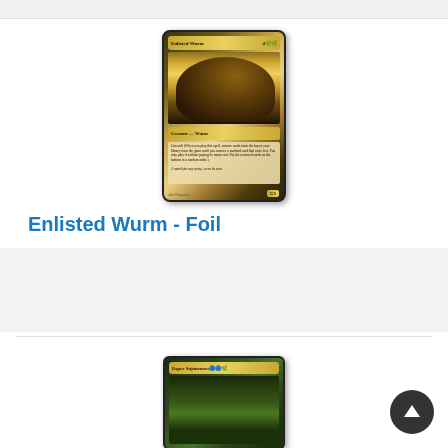[Figure (illustration): Magic: The Gathering card - Enlisted Wurm. Gold-bordered card showing a large worm creature. Card text reads 'Creature — Wurm', 'Cascade', power/toughness 5/5.]
Enlisted Wurm - Foil
Out of stock.
$0.65   + Wishlist
[Figure (illustration): Magic: The Gathering card - Esper Sojourners. Partially visible card at bottom of page.]